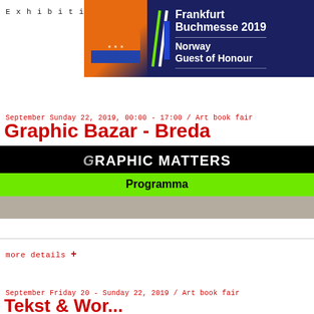Exhibition   Agenda
[Figure (illustration): Frankfurt Buchmesse 2019 Norway Guest of Honour banner with dark blue background, orange hat graphic and white text]
September Sunday 22, 2019, 00:00 - 17:00 / Art book fair
Graphic Bazar - Breda
[Figure (screenshot): Graphic Matters banner with black top showing 'GRAPHIC MATTERS' and green strip showing 'Programma', with blurred photo below]
more details +
September Friday 20 - Sunday 22, 2019 / Art book fair